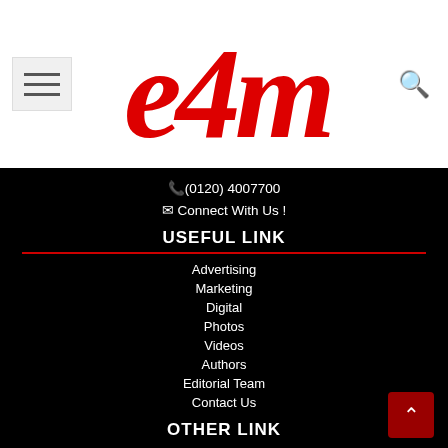[Figure (logo): e4m logo in red italic bold font]
☎(0120) 4007700
✉ Connect With Us !
USEFUL LINK
Advertising
Marketing
Digital
Photos
Videos
Authors
Editorial Team
Contact Us
OTHER LINK